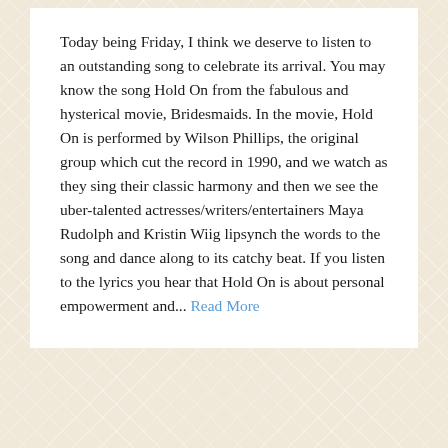Today being Friday, I think we deserve to listen to an outstanding song to celebrate its arrival. You may know the song Hold On from the fabulous and hysterical movie, Bridesmaids. In the movie, Hold On is performed by Wilson Phillips, the original group which cut the record in 1990, and we watch as they sing their classic harmony and then we see the uber-talented actresses/writers/entertainers Maya Rudolph and Kristin Wiig lipsynch the words to the song and dance along to its catchy beat. If you listen to the lyrics you hear that Hold On is about personal empowerment and... Read More
← Previous  1  2  3  4  5  6  7
Next →  »